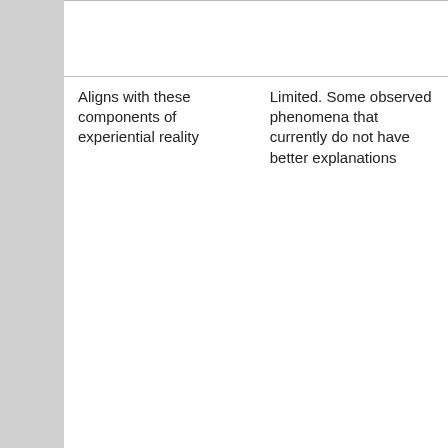|  |  | Perceived impossibility of verifying and thus desire to dispel false hope or fear. |  |  |
| Aligns with these components of experiential reality | Limited. Some observed phenomena that currently do not have better explanations | Aligns with our observation that matter, life, consciousness, morality, love, altruism and free choice all exist. Aligns with the difficulty (i.e., impossibility) of establishing deterministic explanations for experiential | None | Almo From persp child Chris prese with t of Sa |